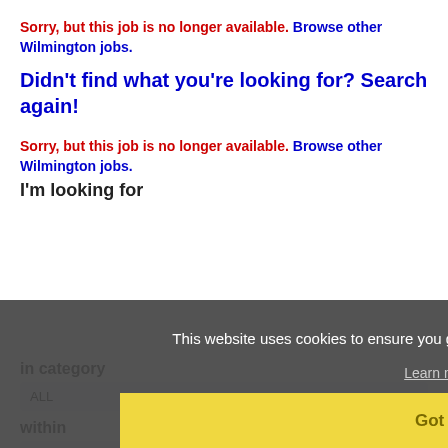Sorry, but this job is no longer available. Browse other Wilmington jobs.
Didn't find what you're looking for? Search again!
Sorry, but this job is no longer available. Browse other Wilmington jobs.
I'm looking for
This website uses cookies to ensure you get the best experience on our website.
Learn more
Got it!
in category
ALL
within
100 Miles of Wilmington